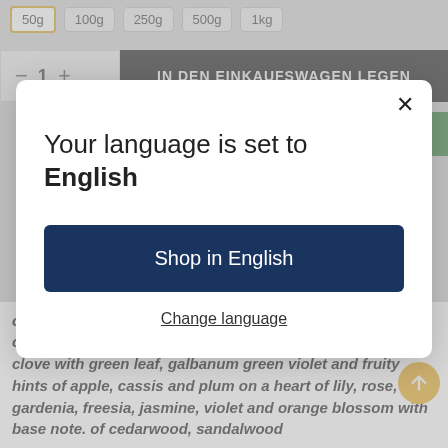50g  100g  250g  500g  1kg
— 1 +  IN DEN EINKAUFSWAGEN LEGEN
NOTIFYWHEN AVAILABLE
[Figure (screenshot): Modal dialog with close X button, text 'Your language is set to English', a dark blue 'Shop in English' button, and a 'Change language' text link]
orange, mandarin, lemon , lime, bergamot and mint combined with spicy nutmeg, cardamom, cinnamon and clove with green leaf, galbanum green violet and fruity hints of apple, cassis and plum on a heart of lily, rose, gardenia, freesia, jasmine, violet and orange blossom with base note of cedarwood, sandalwood